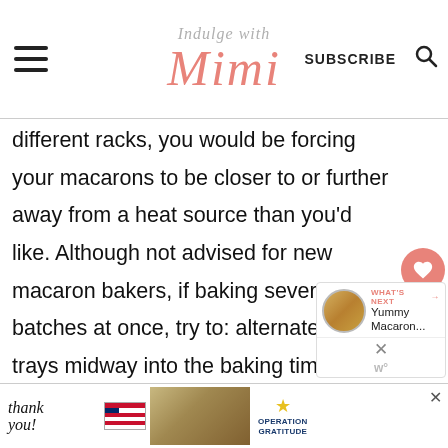Indulge with Mimi
different racks, you would be forcing your macarons to be closer to or further away from a heat source than you'd like. Although not advised for new macaron bakers, if baking several batches at once, try to: alternate the trays midway into the baking time or bake 2 trays on the same rack instead of on different racks. If you have a true convection oven, baking several trays may be easier with the convection setting.
[Figure (other): Advertisement banner - Operation Gratitude thank you ad with people holding packages and American flag]